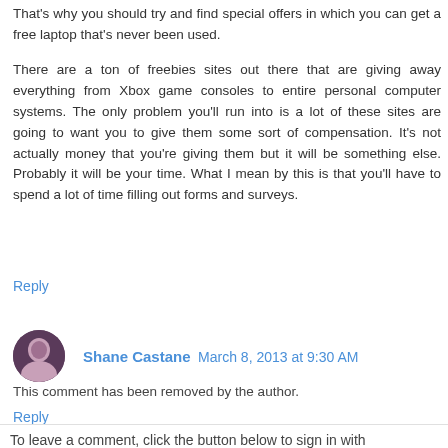That's why you should try and find special offers in which you can get a free laptop that's never been used.
There are a ton of freebies sites out there that are giving away everything from Xbox game consoles to entire personal computer systems. The only problem you'll run into is a lot of these sites are going to want you to give them some sort of compensation. It's not actually money that you're giving them but it will be something else. Probably it will be your time. What I mean by this is that you'll have to spend a lot of time filling out forms and surveys.
Reply
Shane Castane  March 8, 2013 at 9:30 AM
This comment has been removed by the author.
Reply
To leave a comment, click the button below to sign in with